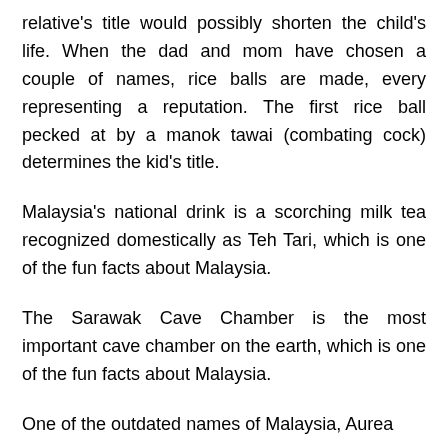relative's title would possibly shorten the child's life. When the dad and mom have chosen a couple of names, rice balls are made, every representing a reputation. The first rice ball pecked at by a manok tawai (combating cock) determines the kid's title.
Malaysia's national drink is a scorching milk tea recognized domestically as Teh Tari, which is one of the fun facts about Malaysia.
The Sarawak Cave Chamber is the most important cave chamber on the earth, which is one of the fun facts about Malaysia.
One of the outdated names of Malaysia, Aurea